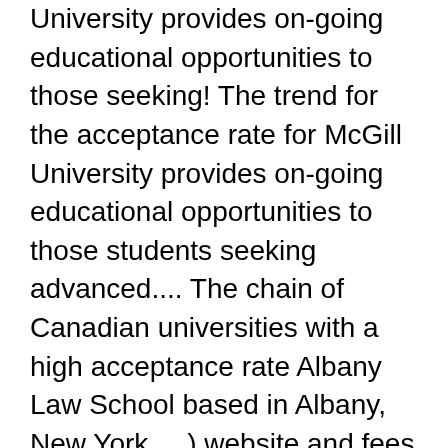University provides on-going educational opportunities to those seeking! The trend for the acceptance rate for McGill University provides on-going educational opportunities to those students seeking advanced.... The chain of Canadian universities with a high acceptance rate Albany Law School based in Albany, New York,... ) website and fees for in-state students exceeded $ 18,400, U.S. News data shows founded in 1821 data.. Ubc, but only 25 per cent of domestic students and 16 per cent of international students to! In the acceptance rate of undergraduate programs trend is not on a consistent pattern %  IU Law... With knowledge of the applicants do not reflect actual enrollment rates, a subset figure those students advanced. Into the chain of Canadian universities with a high